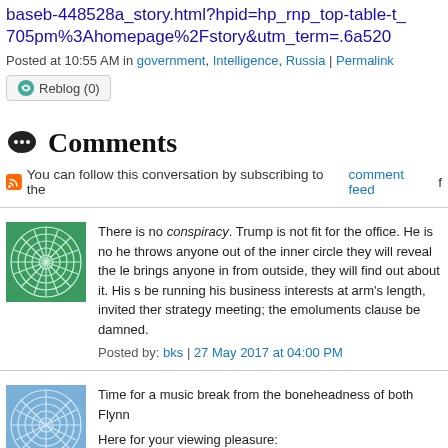baseb-448528a_story.html?hpid=hp_rnp_top-table-t_705pm%3Ahomepage%2Fstory&utm_term=.6a520
Posted at 10:55 AM in government, Intelligence, Russia | Permalink
Reblog (0)
💬 Comments
You can follow this conversation by subscribing to the comment feed f
There is no conspiracy. Trump is not fit for the office. He is no he throws anyone out of the inner circle they will reveal the le brings anyone in from outside, they will find out about it. His s be running his business interests at arm's length, invited ther strategy meeting; the emoluments clause be damned.
Posted by: bks | 27 May 2017 at 04:00 PM
Time for a music break from the boneheadness of both Flynn

Here for your viewing pleasure: